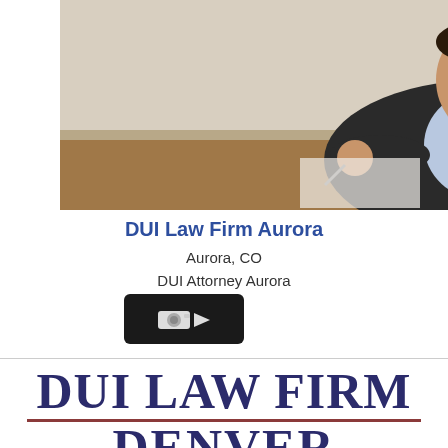[Figure (photo): A lawyer or professional in a dark suit with a red tie, sitting at a desk writing, photographed from a slightly elevated angle. Office setting.]
DUI Law Firm Aurora
Aurora, CO
DUI Attorney Aurora
[Figure (other): Black rounded rectangle button with a video camera icon (film camera emoji)]
[Figure (logo): DUI LAW FIRM DENVER logo in large bold serif font, dark navy/purple, with a dark red horizontal rule between 'DUI LAW FIRM' and 'DENVER']
DUI Law Firm Denver
Denver, CO
DUI Law Firm Denver brings some of the most skillful attorneys before for arrested drivers